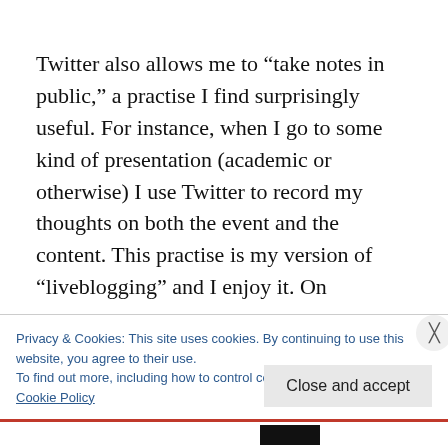Twitter also allows me to “take notes in public,” a practise I find surprisingly useful. For instance, when I go to some kind of presentation (academic or otherwise) I use Twitter to record my thoughts on both the event and the content. This practise is my version of “liveblogging” and I enjoy it. On
Privacy & Cookies: This site uses cookies. By continuing to use this website, you agree to their use.
To find out more, including how to control cookies, see here:
Cookie Policy
Close and accept